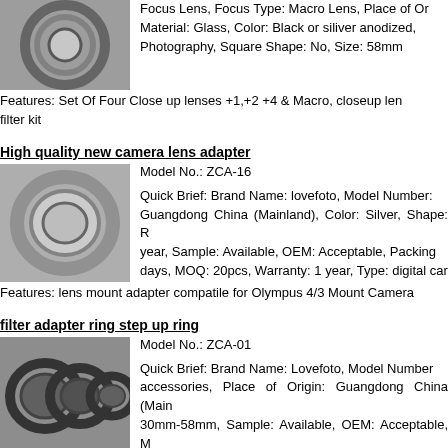[Figure (photo): Camera lens filter set photo (top-left, partially visible)]
Focus Lens, Focus Type: Macro Lens, Place of Origin: Material: Glass, Color: Black or silver anodized, Photography, Square Shape: No, Size: 58mm
Features: Set Of Four Close up lenses +1,+2 +4 & Macro, closeup lens filter kit
High quality new camera lens adapter
[Figure (photo): Silver camera lens adapter ring (ZCA-16)]
Model No.: ZCA-16
Quick Brief: Brand Name: lovefoto, Model Number: Guangdong China (Mainland), Color: Silver, Shape: R year, Sample: Available, OEM: Acceptable, Packing days, MOQ: 20pcs, Warranty: 1 year, Type: digital car
Features: lens mount adapter compatile for Olympus 4/3 Mount Camera
filter adapter ring step up ring
[Figure (photo): Black filter adapter step up rings (ZCA-01)]
Model No.: ZCA-01
Quick Brief: Brand Name: Lovefoto, Model Number: accessories, Place of Origin: Guangdong China (Main 30mm-58mm, Sample: Available, OEM: Acceptable, M bag, Delivery: 2-3 days, Type: Filter adapter ring
Features: Selling all brand filter adapter ring full size